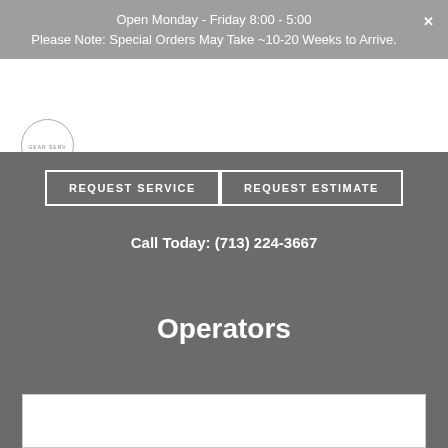Open Monday - Friday 8:00 - 5:00
Please Note: Special Orders May Take ~10-20 Weeks to Arrive.
[Figure (logo): Circular logo with text around edge, top-left of nav strip]
REQUEST SERVICE
REQUEST ESTIMATE
Call Today: (713) 224-3667
Operators